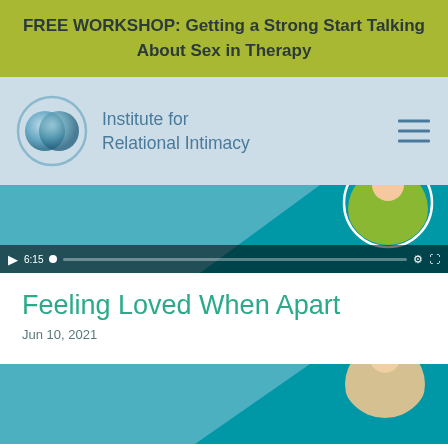FREE WORKSHOP: Getting a Strong Start Talking About Sex in Therapy
[Figure (logo): Institute for Relational Intimacy logo — two overlapping translucent teal-blue spheres inside a circle]
Institute for
Relational Intimacy
[Figure (screenshot): Video player thumbnail showing teal background with diagonal light-blue panel and circular photo of woman in green floral top; controls bar showing play button, time 6:15, progress bar, settings and fullscreen icons]
Feeling Loved When Apart
Jun 10, 2021
[Figure (screenshot): Second video thumbnail showing teal background with diagonal light-blue panel and partial view of blonde woman]